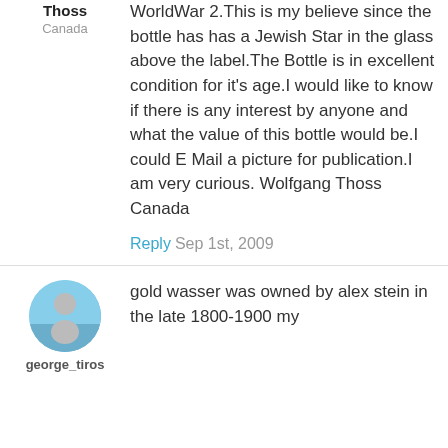Thoss
Canada
WorldWar 2.This is my believe since the bottle has has a Jewish Star in the glass above the label.The Bottle is in excellent condition for it's age.I would like to know if there is any interest by anyone and what the value of this bottle would be.I could E Mail a picture for publication.I am very curious. Wolfgang Thoss Canada
Reply  Sep 1st, 2009
[Figure (photo): Avatar/profile picture of user george_tiros, showing a person silhouette against a blue sky background]
george_tiros
gold wasser was owned by alex stein in the late 1800-1900 my